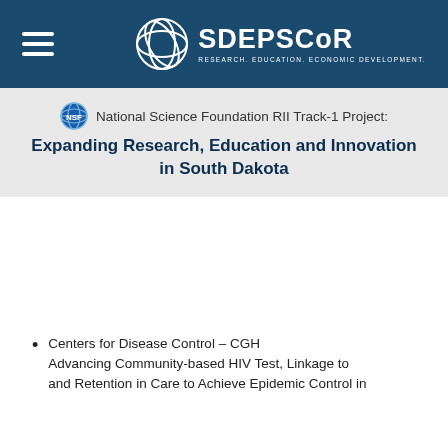SD EPSCoR - Research. Education. Economic Development.
National Science Foundation RII Track-1 Project: Expanding Research, Education and Innovation in South Dakota
Centers for Disease Control – CGH Advancing Community-based HIV Test, Linkage to and Retention in Care to Achieve Epidemic Control in